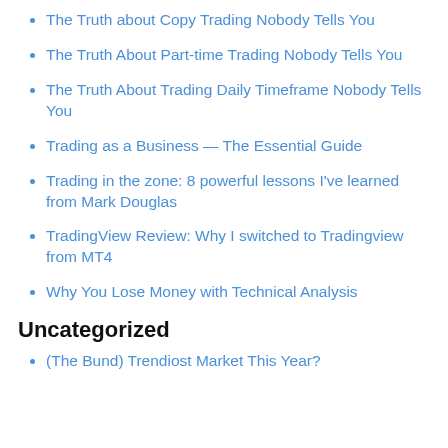The Truth about Copy Trading Nobody Tells You
The Truth About Part-time Trading Nobody Tells You
The Truth About Trading Daily Timeframe Nobody Tells You
Trading as a Business — The Essential Guide
Trading in the zone: 8 powerful lessons I've learned from Mark Douglas
TradingView Review: Why I switched to Tradingview from MT4
Why You Lose Money with Technical Analysis
Uncategorized
(The Bund) Trendiost Market This Year?